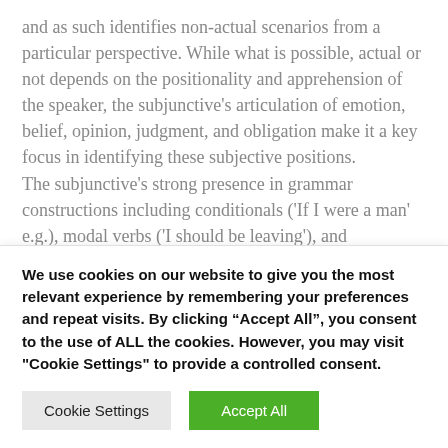and as such identifies non-actual scenarios from a particular perspective. While what is possible, actual or not depends on the positionality and apprehension of the speaker, the subjunctive's articulation of emotion, belief, opinion, judgment, and obligation make it a key focus in identifying these subjective positions.
The subjunctive's strong presence in grammar constructions including conditionals ('If I were a man' e.g.), modal verbs ('I should be leaving'), and
We use cookies on our website to give you the most relevant experience by remembering your preferences and repeat visits. By clicking "Accept All", you consent to the use of ALL the cookies. However, you may visit "Cookie Settings" to provide a controlled consent.